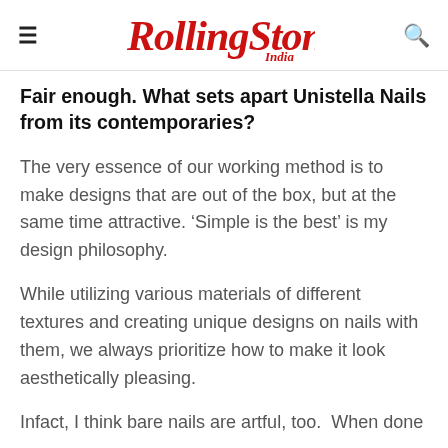Rolling Stone India
Fair enough. What sets apart Unistella Nails from its contemporaries?
The very essence of our working method is to make designs that are out of the box, but at the same time attractive. ‘Simple is the best’ is my design philosophy.
While utilizing various materials of different textures and creating unique designs on nails with them, we always prioritize how to make it look aesthetically pleasing.
Infact, I think bare nails are artful, too.  When done